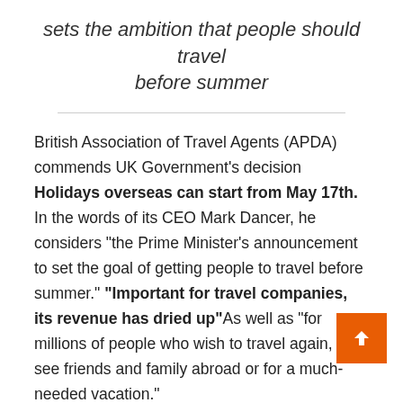sets the ambition that people should travel before summer
British Association of Travel Agents (APDA) commends UK Government’s decision Holidays overseas can start from May 17th. In the words of its CEO Mark Dancer, he considers “the Prime Minister’s announcement to set the goal of getting people to travel before summer.” “Important for travel companies, its revenue has dried up”As well as “for millions of people who wish to travel again, to see friends and family abroad or for a much-needed vacation.”
In this sense, the association considers that “the government has responded to our calls to engage with